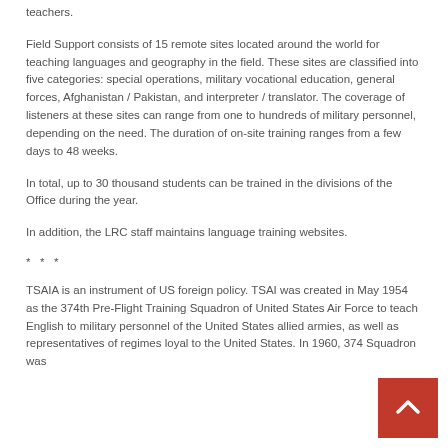teachers.
Field Support consists of 15 remote sites located around the world for teaching languages and geography in the field. These sites are classified into five categories: special operations, military vocational education, general forces, Afghanistan / Pakistan, and interpreter / translator. The coverage of listeners at these sites can range from one to hundreds of military personnel, depending on the need. The duration of on-site training ranges from a few days to 48 weeks.
In total, up to 30 thousand students can be trained in the divisions of the Office during the year.
In addition, the LRC staff maintains language training websites.
* * *
TSAIA is an instrument of US foreign policy. TSAI was created in May 1954 as the 374th Pre-Flight Training Squadron of United States Air Force to teach English to military personnel of the United States allied armies, as well as representatives of regimes loyal to the United States. In 1960, 374 Squadron was